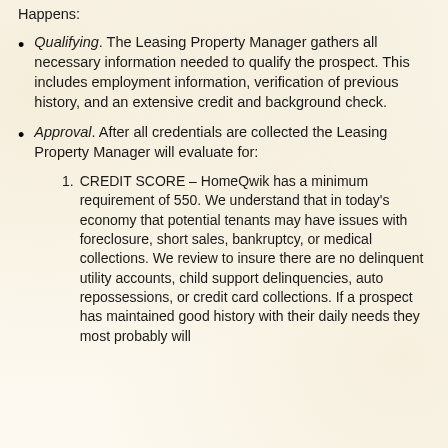Qualifying. The Leasing Property Manager gathers all necessary information needed to qualify the prospect. This includes employment information, verification of previous history, and an extensive credit and background check.
Approval. After all credentials are collected the Leasing Property Manager will evaluate for:
CREDIT SCORE – HomeQwik has a minimum requirement of 550. We understand that in today's economy that potential tenants may have issues with foreclosure, short sales, bankruptcy, or medical collections. We review to insure there are no delinquent utility accounts, child support delinquencies, auto repossessions, or credit card collections. If a prospect has maintained good history with their daily needs they most probably will